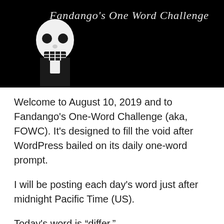[Figure (illustration): Black banner with a skull/skeleton figure on the left and the text 'Fandango's One Word Challenge' in white italic script on the right]
Welcome to August 10, 2019 and to Fandango's One-Word Challenge (aka, FOWC). It's designed to fill the void after WordPress bailed on its daily one-word prompt.
I will be posting each day's word just after midnight Pacific Time (US).
Today's word is “differ.”
Write a post using that word. It can be prose, poetry, fiction, non-fiction. It can be any length. It can be just a picture or a drawing if you want. No holds barred, so to speak.